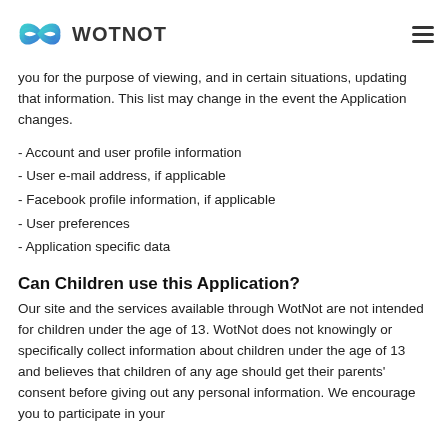WOTNOT
you for the purpose of viewing, and in certain situations, updating that information. This list may change in the event the Application changes.
- Account and user profile information
- User e-mail address, if applicable
- Facebook profile information, if applicable
- User preferences
- Application specific data
Can Children use this Application?
Our site and the services available through WotNot are not intended for children under the age of 13. WotNot does not knowingly or specifically collect information about children under the age of 13 and believes that children of any age should get their parents' consent before giving out any personal information. We encourage you to participate in your